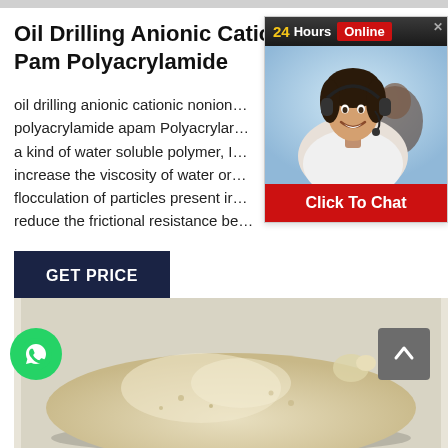Oil Drilling Anionic Cationic Nonionic Pam Polyacrylamide
oil drilling anionic cationic nonionic polyacrylamide apam Polyacrylamide is a kind of water soluble polymer, it can increase the viscosity of water or cause flocculation of particles present in water, reduce the frictional resistance be…
[Figure (photo): Chat widget showing agent with headset, 24Hours Online header and Click To Chat button]
[Figure (photo): Pile of white/yellowish polyacrylamide powder on a light surface]
[Figure (logo): WhatsApp icon button (green circle with phone handset)]